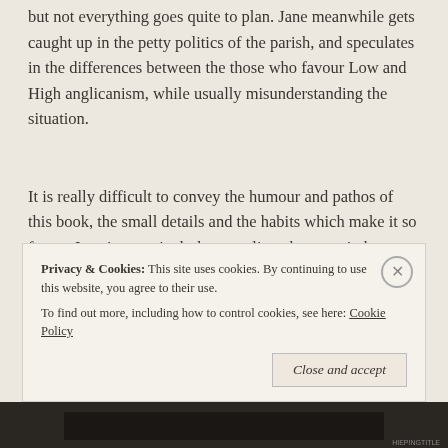but not everything goes quite to plan. Jane meanwhile gets caught up in the petty politics of the parish, and speculates in the differences between the those who favour Low and High anglicanism, while usually misunderstanding the situation.
It is really difficult to convey the humour and pathos of this book, the small details and the habits which make it so funny. Jane is a particularly appealing character in her honesty and acceptance of her less than successful appearance, abilities and much more. Described as wearing a coat "That looks as if she was going to
Privacy & Cookies: This site uses cookies. By continuing to use this website, you agree to their use.
To find out more, including how to control cookies, see here: Cookie Policy